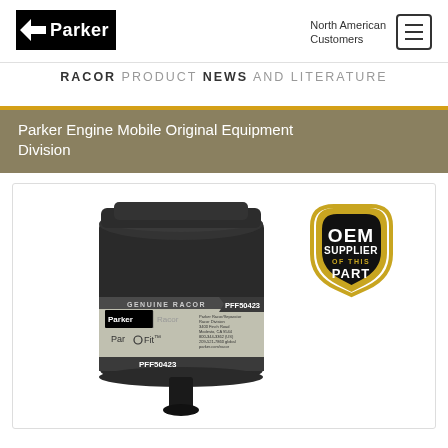[Figure (logo): Parker Hannifin logo — white arrow and 'Parker' text on black background rectangle]
North American Customers
[Figure (other): Hamburger menu button icon (three horizontal lines in a rounded rectangle border)]
RACOR PRODUCT NEWS AND LITERATURE
Parker Engine Mobile Original Equipment Division
[Figure (photo): Parker Racor fuel filter/water separator product PFF50423 shown with ParFit branding, next to a gold and black OEM SUPPLIER OF THIS PART shield badge]